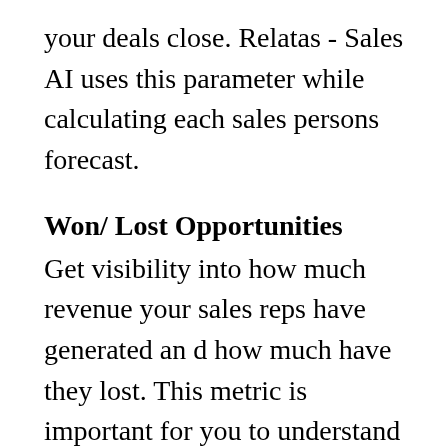your deals close. Relatas - Sales AI uses this parameter while calculating each sales persons forecast.
Won/ Lost Opportunities
Get visibility into how much revenue your sales reps have generated an d how much have they lost. This metric is important for you to understand why is your team winning and losing deals and to take corrective action.